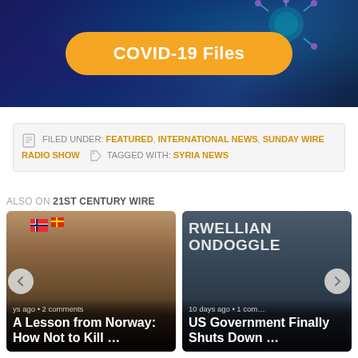[Figure (illustration): COVID-19 Files banner with dark blue background, coronavirus particle illustration, and golden pill-shaped button reading 'COVID-19 Files']
FILED UNDER: FEATURED, INTERNATIONAL NEWS, SUNDAY WIRE RADIO SHOW   TAGGED WITH: SYRIA NEWS
ALSO ON 21ST CENTURY WIRE
[Figure (photo): Card showing Norwegian flags and a walrus or similar animal on a boat, with text: 'A Lesson from Norway: How Not to Kill ...' and '... days ago • 2 comments']
[Figure (photo): Card showing a politician with overlaid text 'ORWELLIAN BOONDOGGLE' and article title 'US Government Finally Shuts Down ...' with '10 days ago • 1 comment']